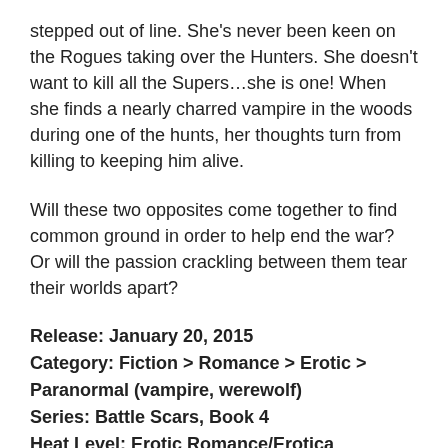stepped out of line. She's never been keen on the Rogues taking over the Hunters. She doesn't want to kill all the Supers…she is one! When she finds a nearly charred vampire in the woods during one of the hunts, her thoughts turn from killing to keeping him alive.
Will these two opposites come together to find common ground in order to help end the war? Or will the passion crackling between them tear their worlds apart?
Release: January 20, 2015
Category: Fiction > Romance > Erotic > Paranormal (vampire, werewolf)
Series: Battle Scars, Book 4
Heat Level: Erotic Romance/Erotica
ISBN: 978-1-62237-351-2